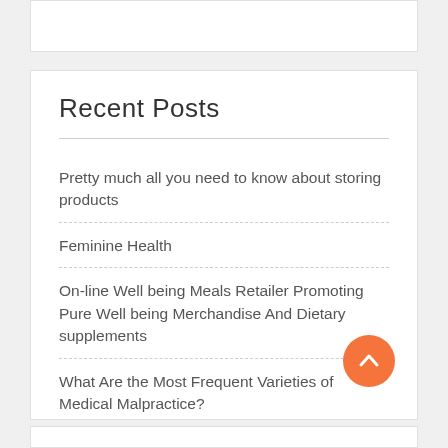Recent Posts
Pretty much all you need to know about storing products
Feminine Health
On-line Well being Meals Retailer Promoting Pure Well being Merchandise And Dietary supplements
What Are the Most Frequent Varieties of Medical Malpractice?
What to Look For in Solventless Focus Merchandise